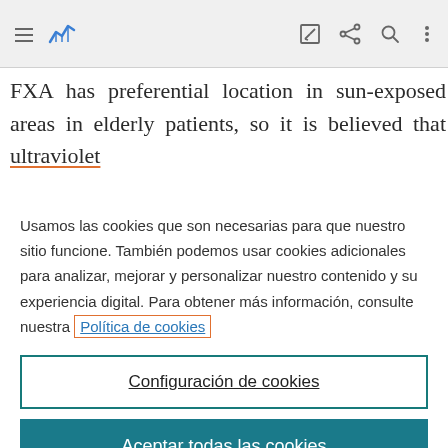Navigation bar with hamburger menu, logo, edit icon, share icon, search icon, more options icon
FXA has preferential location in sun-exposed areas in elderly patients, so it is believed that ultraviolet
Usamos las cookies que son necesarias para que nuestro sitio funcione. También podemos usar cookies adicionales para analizar, mejorar y personalizar nuestro contenido y su experiencia digital. Para obtener más información, consulte nuestra Política de cookies
Configuración de cookies
Aceptar todas las cookies